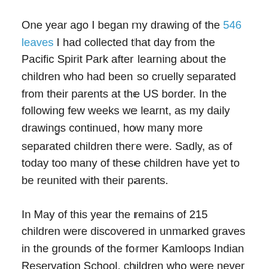One year ago I began my drawing of the 546 leaves I had collected that day from the Pacific Spirit Park after learning about the children who had been so cruelly separated from their parents at the US border. In the following few weeks we learnt, as my daily drawings continued, how many more separated children there were. Sadly, as of today too many of these children have yet to be reunited with their parents.
In May of this year the remains of 215 children were discovered in unmarked graves in the grounds of the former Kamloops Indian Reservation School, children who were never given any opportunity of being reunited with their parents and families. And so began the discovery of generations of children buried in unmarked graves of Indian Reservation Schools across the country in this sad